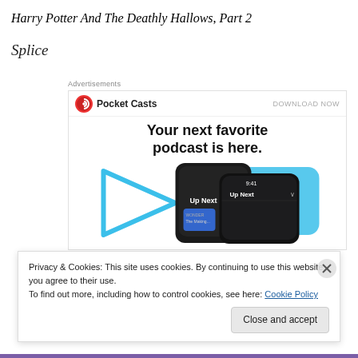Harry Potter And The Deathly Hallows, Part 2
Splice
Advertisements
[Figure (screenshot): Pocket Casts advertisement banner showing 'Your next favorite podcast is here.' with phone screenshots and play button graphic. DOWNLOAD NOW link on right.]
Privacy & Cookies: This site uses cookies. By continuing to use this website, you agree to their use.
To find out more, including how to control cookies, see here: Cookie Policy
Close and accept